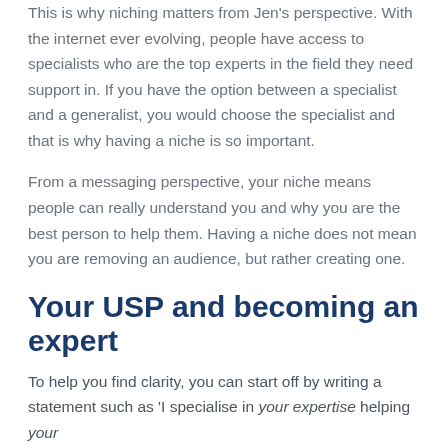This is why niching matters from Jen's perspective. With the internet ever evolving, people have access to specialists who are the top experts in the field they need support in. If you have the option between a specialist and a generalist, you would choose the specialist and that is why having a niche is so important.
From a messaging perspective, your niche means people can really understand you and why you are the best person to help them. Having a niche does not mean you are removing an audience, but rather creating one.
Your USP and becoming an expert
To help you find clarity, you can start off by writing a statement such as 'I specialise in your expertise helping your